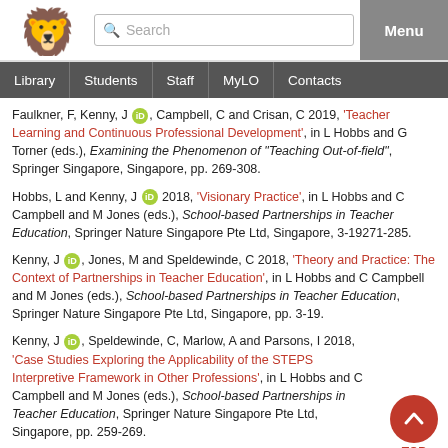[Figure (logo): Red lion rampant logo of University of Tasmania]
Search | Menu | Library | Students | Staff | MyLO | Contacts
Faulkner, F, Kenny, J [ORCID], Campbell, C and Crisan, C 2019, 'Teacher Learning and Continuous Professional Development', in L Hobbs and G Torner (eds.), Examining the Phenomenon of "Teaching Out-of-field", Springer Singapore, Singapore, pp. 269-308.
Hobbs, L and Kenny, J [ORCID] 2018, 'Visionary Practice', in L Hobbs and C Campbell and M Jones (eds.), School-based Partnerships in Teacher Education, Springer Nature Singapore Pte Ltd, Singapore, 3-19271-285.
Kenny, J [ORCID], Jones, M and Speldewinde, C 2018, 'Theory and Practice: The Context of Partnerships in Teacher Education', in L Hobbs and C Campbell and M Jones (eds.), School-based Partnerships in Teacher Education, Springer Nature Singapore Pte Ltd, Singapore, pp. 3-19.
Kenny, J [ORCID], Speldewinde, C, Marlow, A and Parsons, I 2018, 'Case Studies Exploring the Applicability of the STEPS Interpretive Framework in Other Professions', in L Hobbs and C Campbell and M Jones (eds.), School-based Partnerships in Teacher Education, Springer Nature Singapore Pte Ltd, Singapore, pp. 259-269.